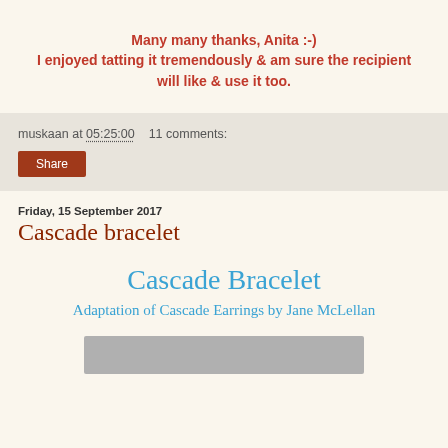Many many thanks, Anita :-)
I enjoyed tatting it tremendously & am sure the recipient will like & use it too.
muskaan at 05:25:00   11 comments:
Share
Friday, 15 September 2017
Cascade bracelet
Cascade Bracelet
Adaptation of Cascade Earrings by Jane McLellan
[Figure (photo): Partial view of a bracelet photo at the bottom of the page]